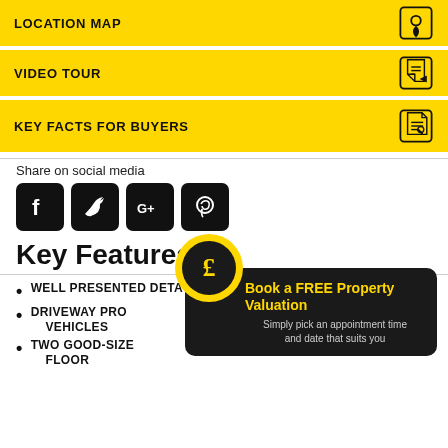LOCATION MAP
VIDEO TOUR
KEY FACTS FOR BUYERS
Share on social media
[Figure (other): Social media icons: Facebook, Twitter, Google+, Pinterest]
Key Features
WELL PRESENTED DETACHED CHALET STYLE BUNGALOW
DRIVEWAY PROVIDING OFF ROAD PARKING FOR SEVERAL VEHICLES
TWO GOOD-SIZED BEDROOMS ON THE GROUND FLOOR
[Figure (other): Book a FREE Property Valuation popup with pound sign icon. Text: Simply pick an appointment time and date that suits you]